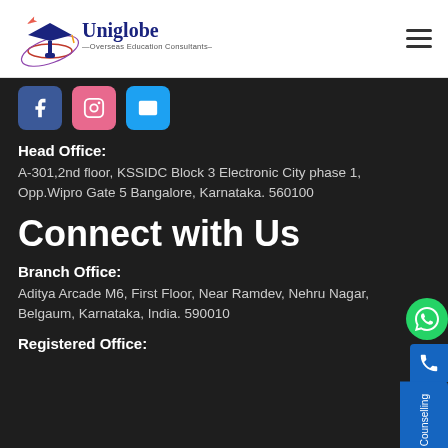[Figure (logo): Uniglobe Overseas Education Consultants logo with graduation cap and orbit graphic]
[Figure (infographic): Social media icon buttons: Facebook (blue), Instagram (pink), and a dark blue icon]
Head Office: A-301,2nd floor, KSSIDC Block 3 Electronic City phase 1, Opp.Wipro Gate 5 Bangalore, Karnataka. 560100
Connect with Us
Branch Office: Aditya Arcade M6, First Floor, Near Ramdev, Nehru Nagar, Belgaum, Karnataka, India. 590010
Registered Office: